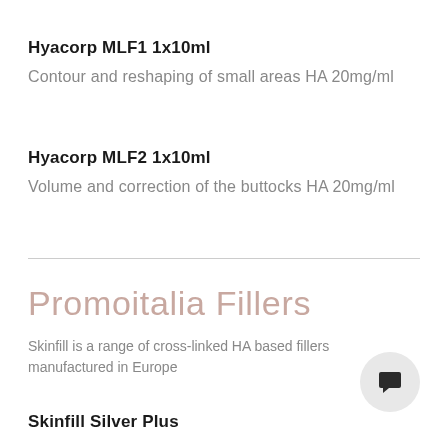Hyacorp MLF1 1x10ml
Contour and reshaping of small areas HA 20mg/ml
Hyacorp MLF2 1x10ml
Volume and correction of the buttocks HA 20mg/ml
Promoitalia Fillers
Skinfill is a range of cross-linked HA based fillers manufactured in Europe
Skinfill Silver Plus